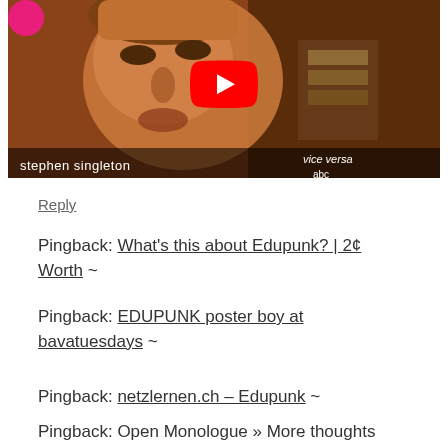[Figure (screenshot): YouTube video thumbnail showing a man's face (Stephen Singleton) with a YouTube play button overlay. Text at bottom reads 'stephen singleton' and 'vice versa'. Pink circle avatar visible top-left corner.]
Reply
Pingback: What's this about Edupunk? | 2¢ Worth  ~
Pingback: EDUPUNK poster boy at bavatuesdays  ~
Pingback: netzlernen.ch – Edupunk  ~
Pingback: Open Monologue » More thoughts